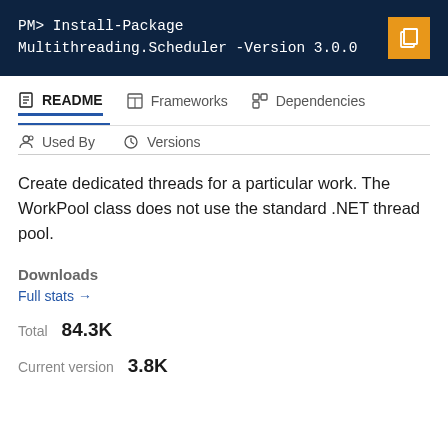PM> Install-Package Multithreading.Scheduler -Version 3.0.0
README | Frameworks | Dependencies | Used By | Versions
Create dedicated threads for a particular work. The WorkPool class does not use the standard .NET thread pool.
Downloads
Full stats →
Total 84.3K
Current version 3.8K